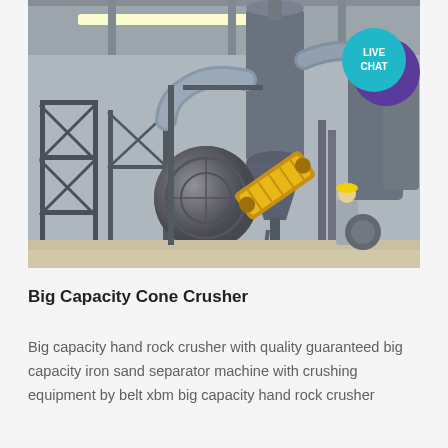[Figure (photo): Industrial facility interior showing large-scale ore crushing/processing equipment including cyclone separators, ductwork pipes, metal scaffolding frames, a rotating drum, a yellow belt conveyor, and storage tanks. A worker in a hard hat is visible on the right side. A 'LIVE CHAT' button overlay appears in the upper right corner.]
Big Capacity Cone Crusher
Big capacity hand rock crusher with quality guaranteed big capacity iron sand separator machine with crushing equipment by belt xbm big capacity hand rock crusher